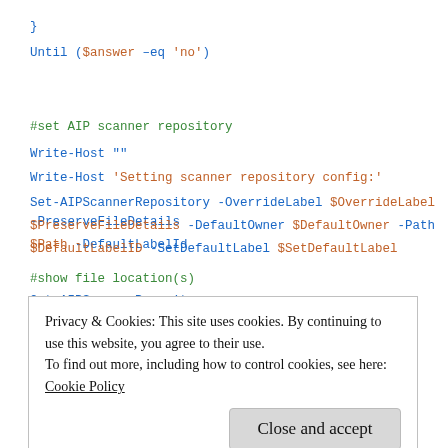}
Until ($answer –eq 'no')
#set AIP scanner repository
Write-Host ""
Write-Host 'Setting scanner repository config:'
Set-AIPScannerRepository -OverrideLabel $OverrideLabel -PreserveFileDetails
$PreserveFileDetails -DefaultOwner $DefaultOwner -Path $Path -DefaultLabelId
$DefaultLabelID -SetDefaultLabel $SetDefaultLabel
#show file location(s)
Get-AIPScannerRepository
Write-Host ""
Privacy & Cookies: This site uses cookies. By continuing to use this website, you agree to their use.
To find out more, including how to control cookies, see here:
Cookie Policy